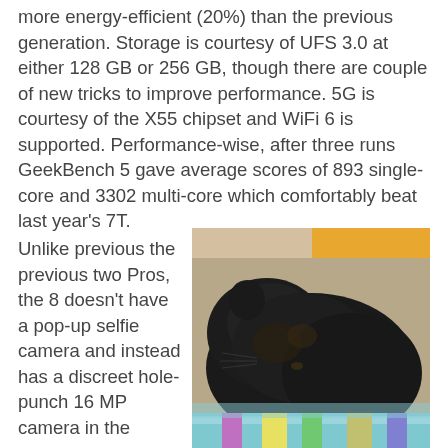more energy-efficient (20%) than the previous generation. Storage is courtesy of UFS 3.0 at either 128 GB or 256 GB, though there are couple of new tricks to improve performance. 5G is courtesy of the X55 chipset and WiFi 6 is supported. Performance-wise, after three runs GeekBench 5 gave average scores of 893 single-core and 3302 multi-core which comfortably beat last year's 7T.
Unlike previous the previous two Pros, the 8 doesn't have a pop-up selfie camera and instead has a discreet hole-punch 16 MP camera in the
[Figure (photo): A black cat lying down, curled up and resting on a colorful blanket. The cat appears to be sleeping or relaxed, photographed from above/side angle.]